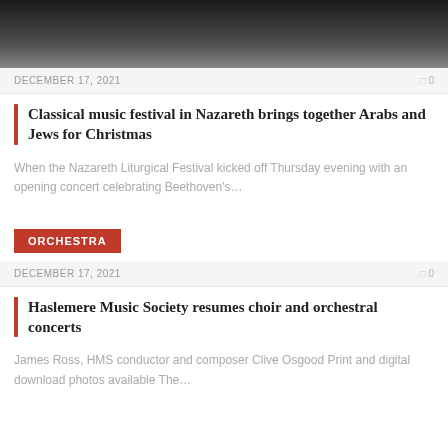[Figure (photo): Dark silhouettes of people standing, bottom portion of image visible against dark background]
DECEMBER 17, 2021    0
Classical music festival in Nazareth brings together Arabs and Jews for Christmas
When the Nazareth Liturgical Festival kicked off Thursday evening with an opening concert celebrating Beethoven's…
ORCHESTRA
DECEMBER 17, 2021    0
Haslemere Music Society resumes choir and orchestral concerts
James Ross, HMS conductor and composer Clive Osgood Print and digital download photos available The…